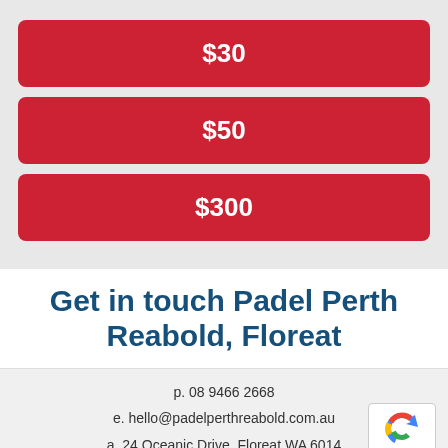$30
$50
$300
Get in touch Padel Perth Reabold, Floreat
p. 08 9466 2668
e. hello@padelperthreabold.com.au
a. 24 Oceanic Drive, Floreat WA 6014